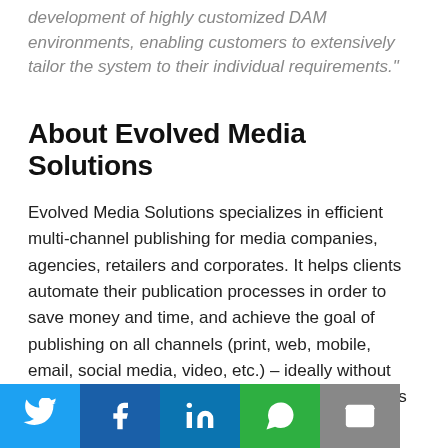development of highly customized DAM environments, enabling customers to extensively tailor the system to their individual requirements."
About Evolved Media Solutions
Evolved Media Solutions specializes in efficient multi-channel publishing for media companies, agencies, retailers and corporates. It helps clients automate their publication processes in order to save money and time, and achieve the goal of publishing on all channels (print, web, mobile, email, social media, video, etc.) – ideally without expanding existing teams. From workflow systems to digital asset management (DAM) systems to digital publishing systems, it helps businesses of all sizes join the digital publishing evolution.
[Figure (infographic): Social media sharing bar with Twitter, Facebook, LinkedIn, WhatsApp, and email icons]